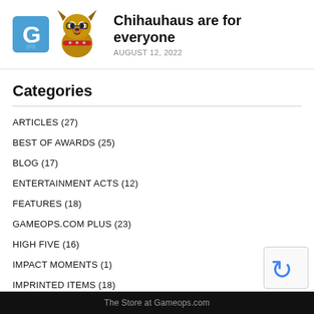[Figure (logo): GameOps G logo icon (blue) and chihuahua mascot logo side by side]
Chihauhaus are for everyone
AUGUST 12, 2022
Categories
ARTICLES (27)
BEST OF AWARDS (25)
BLOG (17)
ENTERTAINMENT ACTS (12)
FEATURES (18)
GAMEOPS.COM PLUS (23)
HIGH FIVE (16)
IMPACT MOMENTS (1)
IMPRINTED ITEMS (18)
INTERVIEWS (22)
The Store at Gameops.com